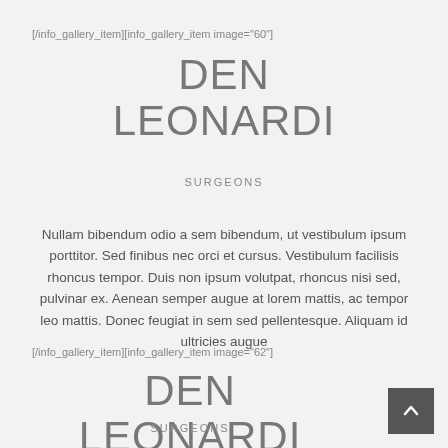[/info_gallery_item][info_gallery_item image="60"]
DEN LEONARDI
SURGEONS
Nullam bibendum odio a sem bibendum, ut vestibulum ipsum porttitor. Sed finibus nec orci et cursus. Vestibulum facilisis rhoncus tempor. Duis non ipsum volutpat, rhoncus nisi sed, pulvinar ex. Aenean semper augue at lorem mattis, ac tempor leo mattis. Donec feugiat in sem sed pellentesque. Aliquam id ultricies augue
[/info_gallery_item][info_gallery_item image="62"]
DEN LEONARDI
SURGEONS